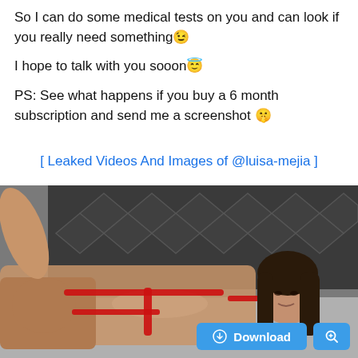So I can do some medical tests on you and can look if you really need something😉

I hope to talk with you sooon😇

PS: See what happens if you buy a 6 month subscription and send me a screenshot 🤫
[ Leaked Videos And Images of @luisa-mejia ]
[Figure (photo): A woman in a red bikini lying on a bed with a tufted headboard in the background.]